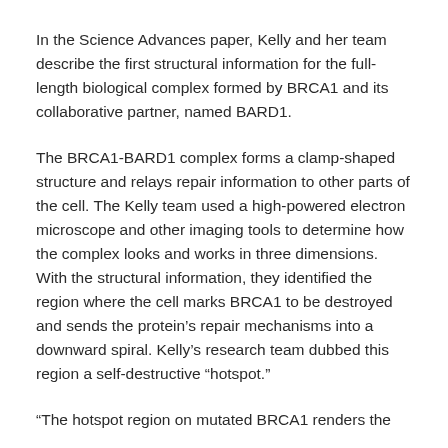In the Science Advances paper, Kelly and her team describe the first structural information for the full-length biological complex formed by BRCA1 and its collaborative partner, named BARD1.
The BRCA1-BARD1 complex forms a clamp-shaped structure and relays repair information to other parts of the cell. The Kelly team used a high-powered electron microscope and other imaging tools to determine how the complex looks and works in three dimensions. With the structural information, they identified the region where the cell marks BRCA1 to be destroyed and sends the protein's repair mechanisms into a downward spiral. Kelly's research team dubbed this region a self-destructive “hotspot.”
“The hotspot region on mutated BRCA1 renders the